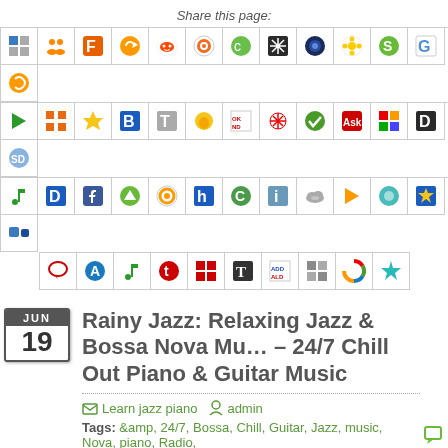Share this page:
[Figure (infographic): Grid of social sharing icon buttons arranged in 4 rows]
Rainy Jazz: Relaxing Jazz & Bossa Nova Mu... – 24/7 Chill Out Piano & Guitar Music
Learn jazz piano  admin
Tags: &amp, 24/7, Bossa, Chill, Guitar, Jazz, music, Nova, piano, Radio,